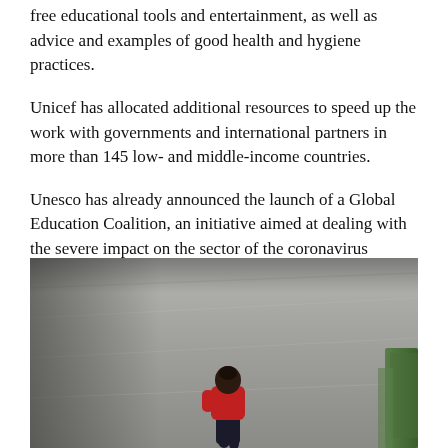free educational tools and entertainment, as well as advice and examples of good health and hygiene practices.
Unicef has allocated additional resources to speed up the work with governments and international partners in more than 145 low- and middle-income countries.
Unesco has already announced the launch of a Global Education Coalition, an initiative aimed at dealing with the severe impact on the sector of the coronavirus SARS-Cov-2 pandemic.
[Figure (photo): A child in a red top and dark pants seen from behind, standing on a grey concrete road or path, facing away from the camera. Green grass is visible on the right side.]